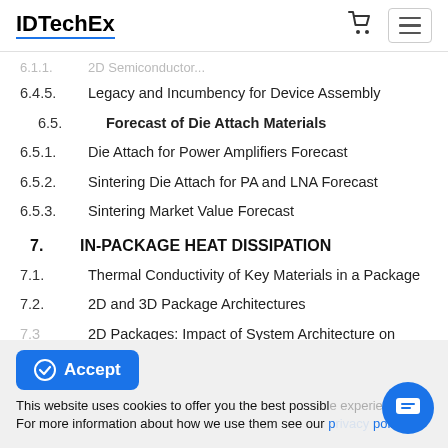IDTechEx
6.1.1.   2D Semiconductor...
6.4.5.   Legacy and Incumbency for Device Assembly
6.5.   Forecast of Die Attach Materials
6.5.1.   Die Attach for Power Amplifiers Forecast
6.5.2.   Sintering Die Attach for PA and LNA Forecast
6.5.3.   Sintering Market Value Forecast
7.   IN-PACKAGE HEAT DISSIPATION
7.1.   Thermal Conductivity of Key Materials in a Package
7.2.   2D and 3D Package Architectures
7.3   2D Packages: Impact of System Architecture on
This website uses cookies to offer you the best possible experience. For more information about how we use them see our privacy policy.